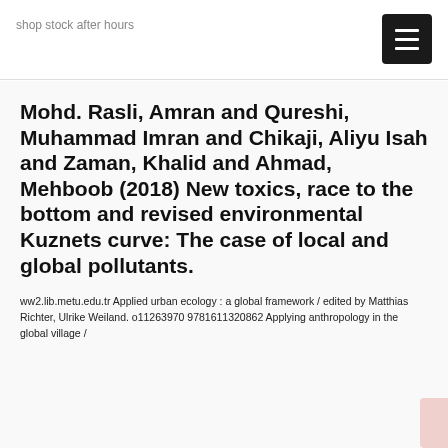shop stock after hours
Mohd. Rasli, Amran and Qureshi, Muhammad Imran and Chikaji, Aliyu Isah and Zaman, Khalid and Ahmad, Mehboob (2018) New toxics, race to the bottom and revised environmental Kuznets curve: The case of local and global pollutants.
ww2.lib.metu.edu.tr Applied urban ecology : a global framework / edited by Matthias Richter, Ulrike Weiland. o11263970 9781611320862 Applying anthropology in the global village /